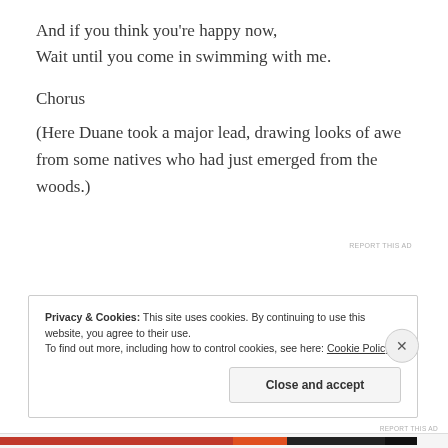And if you think you're happy now,
Wait until you come in swimming with me.
Chorus
(Here Duane took a major lead, drawing looks of awe from some natives who had just emerged from the woods.)
REPORT THIS AD
Privacy & Cookies: This site uses cookies. By continuing to use this website, you agree to their use.
To find out more, including how to control cookies, see here: Cookie Policy
Close and accept